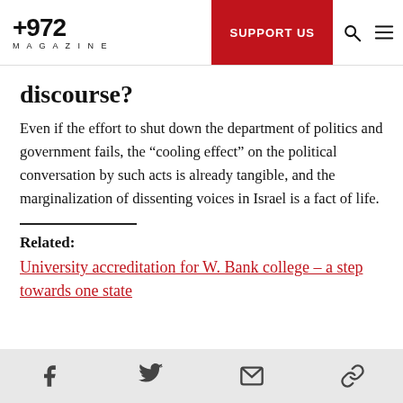+972 MAGAZINE | SUPPORT US
discourse?
Even if the effort to shut down the department of politics and government fails, the “cooling effect” on the political conversation by such acts is already tangible, and the marginalization of dissenting voices in Israel is a fact of life.
Related:
University accreditation for W. Bank college – a step towards one state
Social share icons: Facebook, Twitter, Email, Link